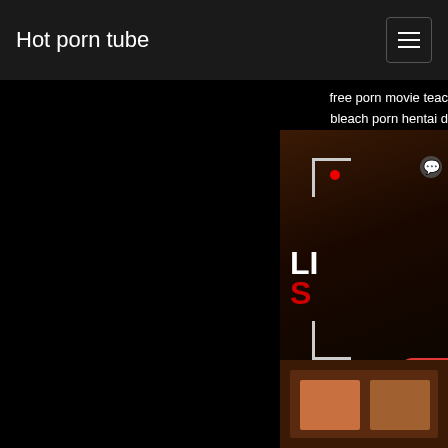Hot porn tube
free porn movie teac
bleach porn hentai d
porn ezine top
Permalink Cute Blonde
And Cum Ins
[Figure (photo): Adult advertisement banner with a woman, recording dot, corner brackets, partial text LI and S in large letters, and a red WATCH button]
[Figure (photo): Thumbnail strip at bottom right]